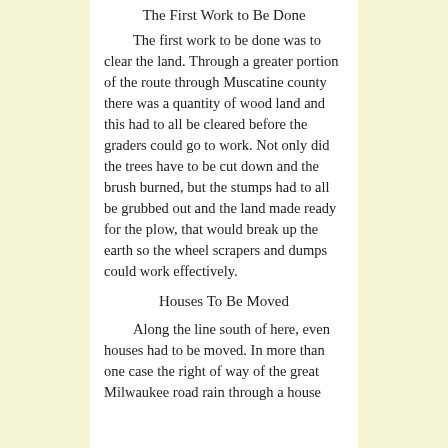The First Work to Be Done
The first work to be done was to clear the land. Through a greater portion of the route through Muscatine county there was a quantity of wood land and this had to all be cleared before the graders could go to work. Not only did the trees have to be cut down and the brush burned, but the stumps had to all be grubbed out and the land made ready for the plow, that would break up the earth so the wheel scrapers and dumps could work effectively.
Houses To Be Moved
Along the line south of here, even houses had to be moved. In more than one case the right of way of the great Milwaukee road rain through a house and a case which it had to be